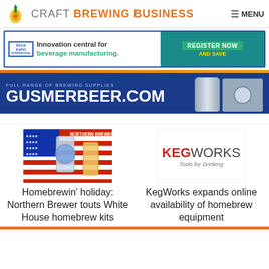CRAFT BREWING BUSINESS  MENU
[Figure (advertisement): Pack Expo International banner ad: Innovation central for beverage manufacturing. Register Now and Save.]
[Figure (advertisement): Gusmer Beer banner ad: Full range of brewing supplies. GUSMERBEER.COM]
[Figure (photo): Northern Brewer homebrew kit thumbnail image with American flag background]
Homebrewin' holiday: Northern Brewer touts White House homebrew kits
[Figure (logo): KegWorks logo: KEG in red, WORKS in dark. Tagline: Tools for Drinking]
KegWorks expands online availability of homebrew equipment